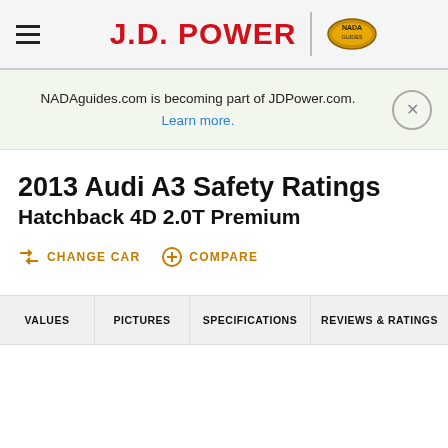J.D. POWER
NADAguides.com is becoming part of JDPower.com. Learn more.
2013 Audi A3 Safety Ratings
Hatchback 4D 2.0T Premium
CHANGE CAR
COMPARE
VALUES  PICTURES  SPECIFICATIONS  REVIEWS & RATINGS